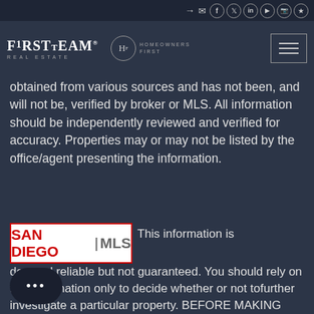FirstTeam Real Estate — Homeowners First — Navigation icons
[Figure (logo): FirstTeam Real Estate logo and Homeowners First logo with hamburger menu button]
obtained from various sources and has not been, and will not be, verified by broker or MLS. All information should be independently reviewed and verified for accuracy. Properties may or may not be listed by the office/agent presenting the information.
[Figure (logo): San Diego MLS logo — white box with red border, SAN DIEGO in red, MLS in gray]
This information is deemed reliable but not guaranteed. You should rely on this information only to decide whether or not tofurther investigate a particular property. BEFORE MAKING ANY OTHER DECISION, YOU SHOULD PERSONALLY INVESTIGATE THE FACTS (e.g.square footage and lot size) with the assistance of an